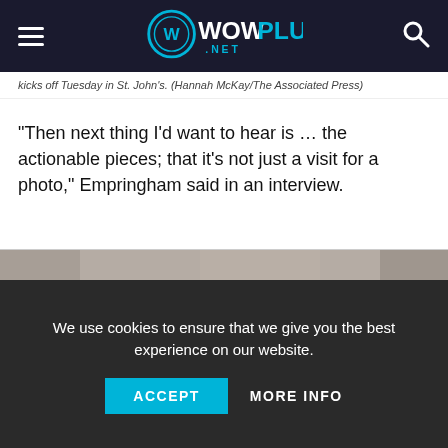WowPlus.net
kicks off Tuesday in St. John's. (Hannah McKay/The Associated Press)
“Then next thing I’d want to hear is … the actionable pieces; that it’s not just a visit for a photo,” Empringham said in an interview.
“I would be excited to hear that there are actionable items that are going to move forward, or maybe move forward quicker than what’s comfortable. Those are the things that often we don’t hear enough of.”
[Figure (photo): Partial image strip visible at bottom of content area]
We use cookies to ensure that we give you the best experience on our website.